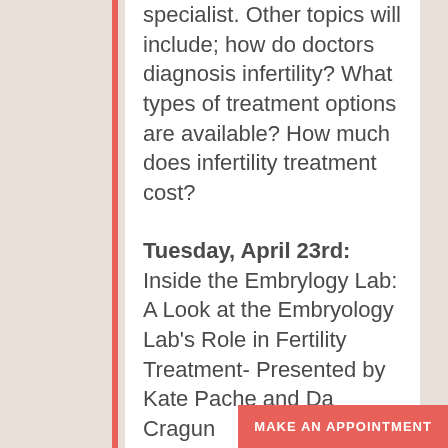specialist. Other topics will include; how do doctors diagnosis infertility? What types of treatment options are available? How much does infertility treatment cost?
Tuesday, April 23rd: Inside the Embrylogy Lab: A Look at the Embryology Lab's Role in Fertility Treatment- Presented by Kate Pache and Da Cragun